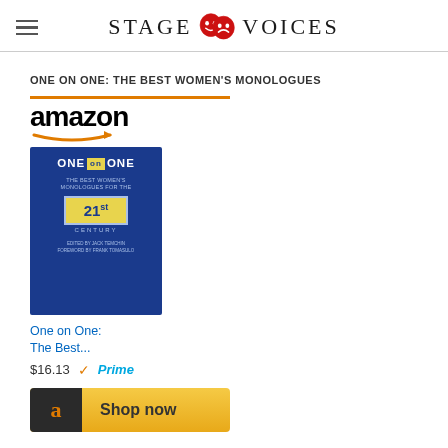STAGE VOICES
ONE ON ONE: THE BEST WOMEN'S MONOLOGUES
[Figure (other): Amazon product widget showing book 'One on One: The Best Women's Monologues for the 21st Century' priced at $16.13 with Prime badge, with Shop now button]
One on One: The Best...
$16.13  ✓Prime
Shop now